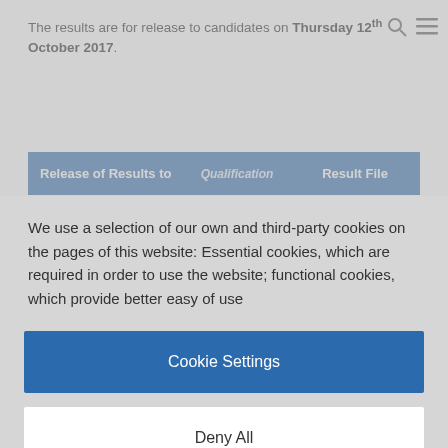The results are for release to candidates on Thursday 12th October 2017.
| Release of Results to | Qualification | Result File |
| --- | --- | --- |
We use a selection of our own and third-party cookies on the pages of this website: Essential cookies, which are required in order to use the website; functional cookies, which provide better easy of use
Cookie Settings
Deny All
Accept All